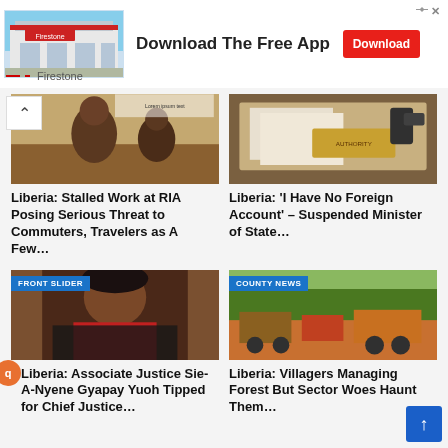[Figure (infographic): Advertisement banner: Firestone store image on left, 'Download The Free App' text and red Download button, close (x) icon top right, Firestone label bottom left with red dashes]
Download The Free App
Download
Firestone
[Figure (photo): News article image showing construction/road work scene with people]
Liberia: Stalled Work at RIA Posing Serious Threat to Commuters, Travelers as A Few…
[Figure (photo): News article image showing desk with papers and items]
Liberia: 'I Have No Foreign Account' – Suspended Minister of State…
[Figure (photo): News article image with FRONT SLIDER badge showing woman in formal attire]
Liberia: Associate Justice Sie-A-Nyene Gyapay Yuoh Tipped for Chief Justice…
[Figure (photo): News article image with COUNTY NEWS badge showing construction site with vehicles]
Liberia: Villagers Managing Forest But Sector Woes Haunt Them…